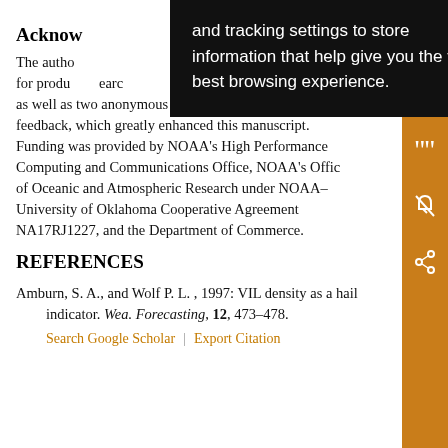Acknowledgments
The authors thank Norman man for producing research as well as two anonymous reviewers for their thoughtful feedback, which greatly enhanced this manuscript. Funding was provided by NOAA's High Performance Computing and Communications Office, NOAA's Office of Oceanic and Atmospheric Research under NOAA–University of Oklahoma Cooperative Agreement NA17RJ1227, and the Department of Commerce.
[Figure (screenshot): Black popup overlay with white text reading: 'and tracking settings to store information that help give you the very best browsing experience.']
REFERENCES
Amburn, S. A., and Wolf P. L. , 1997: VIL density as a hail indicator. Wea. Forecasting, 12, 473–478.
Search Google Scholar | Export Citation